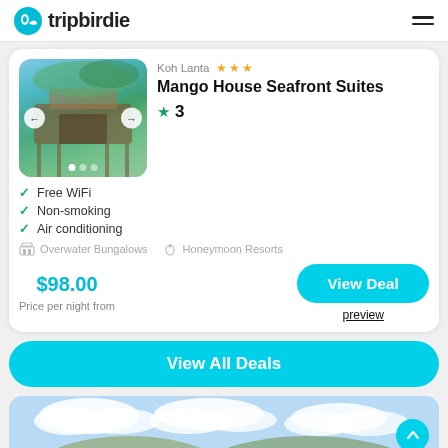tripbirdie
[Figure (photo): Hotel photo showing overwater bungalows with green hills in background]
Koh Lanta ★★★
Mango House Seafront Suites
★ 3
Free WiFi
Non-smoking
Air conditioning
Overwater Bungalows   Honeymoon Resorts
$98.00
Price per night from
View Deal
preview
View All Deals
[Figure (photo): Sky and clouds landscape photo at the bottom of the page]